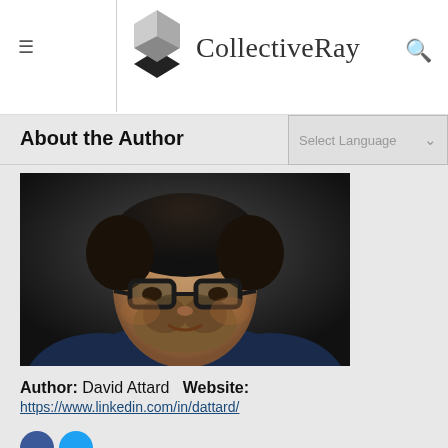CollectiveRay
About the Author
[Figure (photo): Headshot photo of David Attard, a man with dark hair, glasses, and a beard, wearing a navy blue shirt, against a dark background.]
Author: David Attard  Website:
https://www.linkedin.com/in/dattard/